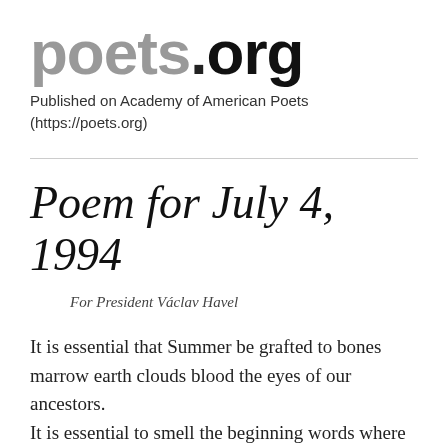poets.org
Published on Academy of American Poets (https://poets.org)
Poem for July 4, 1994
For President Václav Havel
It is essential that Summer be grafted to bones marrow earth clouds blood the eyes of our ancestors.
It is essential to smell the beginning words where Washington, Madison, Hamilton,